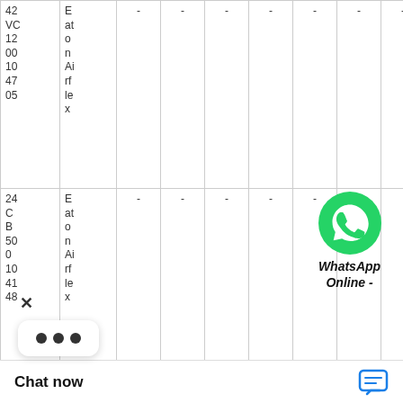|  |  |  |  |  |  |  |  |  |  |
| --- | --- | --- | --- | --- | --- | --- | --- | --- | --- |
| 42 VC 12 00 10 47 05 | Eaton Airflex | - | - | - | - | - | - | - | - |
| 24 CB 50 0 10 41 48 | Eaton Airflex | - | - | - | - | - | WhatsApp Online - |  |  |
| 10 VC | Eat at |  |  |  |  | 3.00 in; 76 | - | - |  |
[Figure (illustration): WhatsApp Online widget with green phone icon]
Chat now